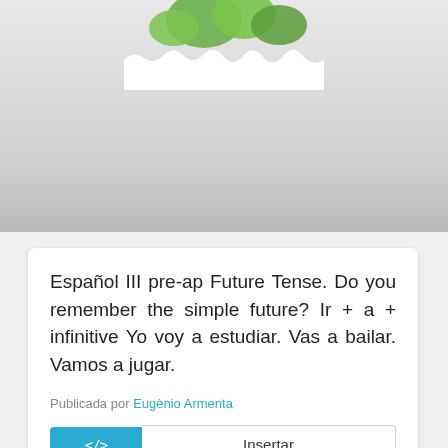[Figure (illustration): Partial illustration showing green plant/frog elements at the top of the page, torn paper effect]
Español III pre-ap Future Tense. Do you remember the simple future? Ir + a + infinitive Yo voy a estudiar. Vas a bailar. Vamos a jugar.
Publicada por Eugènio Armenta